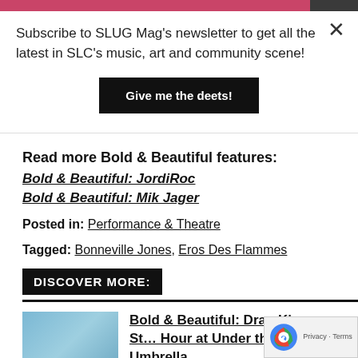Subscribe to SLUG Mag's newsletter to get all the latest in SLC's music, art and community scene!
Give me the deets!
Read more Bold & Beautiful features:
Bold & Beautiful: JordiRoc
Bold & Beautiful: Mik Jager
Posted in: Performance & Theatre
Tagged: Bonneville Jones, Eros Des Flammes
DISCOVER MORE:
[Figure (photo): People holding a flag with an infinity symbol]
Bold & Beautiful: Drag King Story Hour at Under the Umbrella